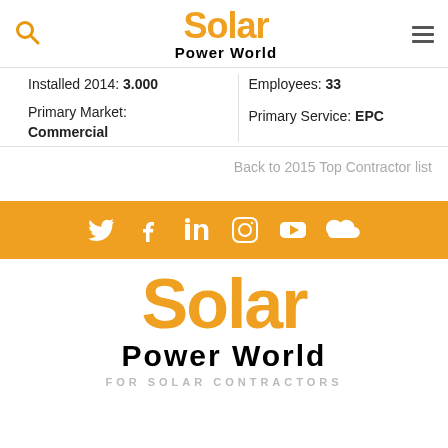[Figure (logo): Solar Power World logo with orange 'Solar' text and black 'Power World' text]
Installed 2014: 3.000
Primary Market: Commercial
Employees: 33
Primary Service: EPC
Back to 2015 Top Contractor list
[Figure (logo): Orange social media bar with Twitter, Facebook, LinkedIn, Instagram, YouTube, and SoundCloud icons in white]
[Figure (logo): Large Solar Power World footer logo — orange 'Solar' and black 'Power World' with tagline FOR SOLAR CONTRACTORS]